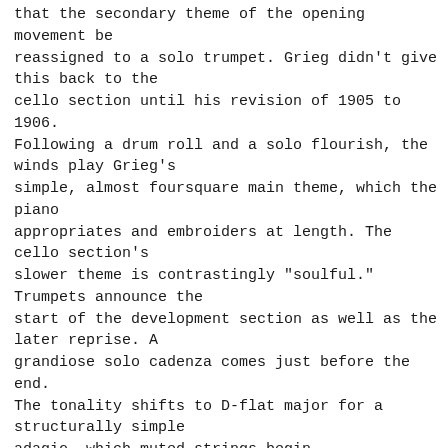that the secondary theme of the opening movement be reassigned to a solo trumpet. Grieg didn't give this back to the cello section until his revision of 1905 to 1906. Following a drum roll and a solo flourish, the winds play Grieg's simple, almost foursquare main theme, which the piano appropriates and embroiders at length. The cello section's slower theme is contrastingly "soulful." Trumpets announce the start of the development section as well as the later reprise. A grandiose solo cadenza comes just before the end. The tonality shifts to D-flat major for a structurally simple adagio, which muted strings begin introspectively. The piano treats their material rhapsodically until an angular and dramatic statement of the principal theme changes the mood. But calm is restored, and a quiet ending leads without pause to another quick movement in A minor again, not too quickly with the further instruction to play marcato. This time the piano gets to play the main theme first, based on the rhythm of a Norwegian folk dance, the tailing. A quirkier, more elaborate, but nonetheless folklike second theme follows in a structure that combines sonata and rondo forms. The solo flute introduces a tranquilly pretty episode, after which the main theme returns for extensive development before a short cadenza brings on the long-delayed transition to A major another dance, in 3/4 time, at an accelerated tempo. Listion